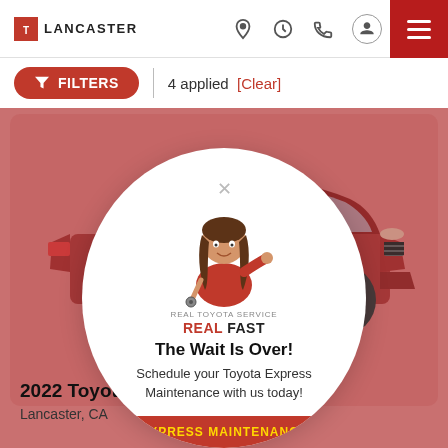[Figure (logo): Lancaster Toyota dealership logo with red square icon and LANCASTER text]
FILTERS 4 applied [Clear]
[Figure (photo): Red Toyota RAV4 SUV shown on pink-red background within a card layout]
[Figure (infographic): Circular white popup modal with Toyota service representative illustration, tagline REAL TOYOTA SERVICE REAL FAST, heading The Wait Is Over!, subtext Schedule your Toyota Express Maintenance with us today!, and EXPRESS MAINTENANCE button]
2022 Toyota
Lancaster, CA